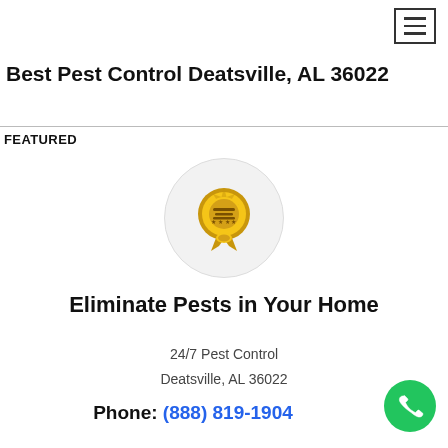≡ (hamburger menu icon)
Best Pest Control Deatsville, AL 36022
FEATURED
[Figure (logo): Gold 'Preferred Contractor' award badge/seal inside a light gray circle]
Eliminate Pests in Your Home
24/7 Pest Control
Deatsville, AL 36022
Phone: (888) 819-1904